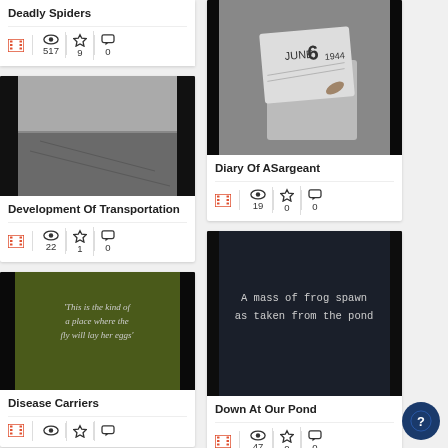Deadly Spiders
517 views, 9 favorites, 0 comments
[Figure (photo): Grayscale landscape/field image for Development Of Transportation]
Development Of Transportation
22 views, 1 favorite, 0 comments
[Figure (photo): Dark olive green background with text quote for Disease Carriers]
Disease Carriers
[Figure (photo): Black and white photo of a hand pointing to a calendar page reading JUNE 6 1944 for Diary Of A Sargeant]
Diary Of ASargeant
19 views, 0 favorites, 0 comments
[Figure (photo): Dark background with white text: A mass of frog spawn as taken from the pond]
Down At Our Pond
47 views, 0 favorites, 0 comments